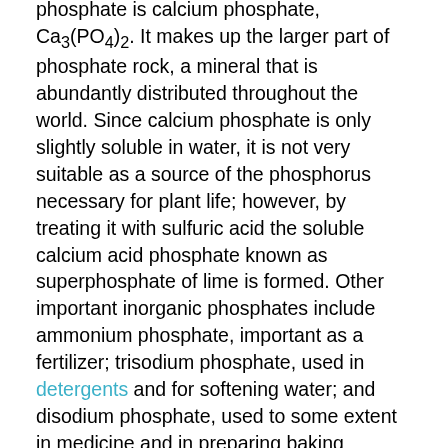phosphate is calcium phosphate, Ca3(PO4)2. It makes up the larger part of phosphate rock, a mineral that is abundantly distributed throughout the world. Since calcium phosphate is only slightly soluble in water, it is not very suitable as a source of the phosphorus necessary for plant life; however, by treating it with sulfuric acid the soluble calcium acid phosphate known as superphosphate of lime is formed. Other important inorganic phosphates include ammonium phosphate, important as a fertilizer; trisodium phosphate, used in detergents and for softening water; and disodium phosphate, used to some extent in medicine and in preparing baking powders. Various acid phosphates, e.g., those of calcium, magnesium, and sodium, are sometimes present in carbonated beverages. Microcosmic salt, used in certain bead tests in chemical analysis, is sodium ammonium phosphate. Organic phosphates play an important role in metabolism. For example, in the metabolism of sugars (which have hydroxyl groups, -OH, in their molecules), phosphate